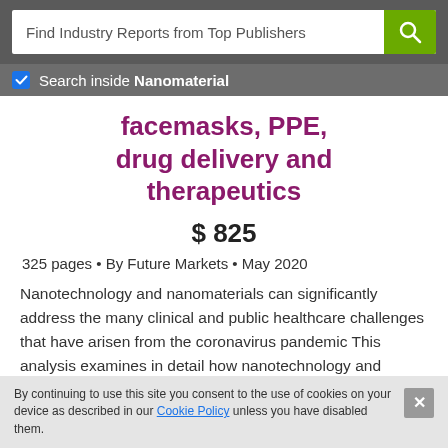Find Industry Reports from Top Publishers
Search inside Nanomaterial
facemasks, PPE, drug delivery and therapeutics
$ 825
325 pages • By Future Markets • May 2020
Nanotechnology and nanomaterials can significantly address the many clinical and public healthcare challenges that have arisen from the coronavirus pandemic This analysis examines in detail how nanotechnology and nanomaterials can help in the fight against this
By continuing to use this site you consent to the use of cookies on your device as described in our Cookie Policy unless you have disabled them.